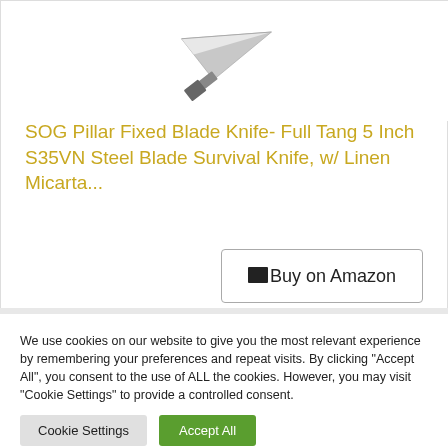[Figure (photo): Knife blade pointing diagonally downward to the right, shown against a white background]
SOG Pillar Fixed Blade Knife- Full Tang 5 Inch S35VN Steel Blade Survival Knife, w/ Linen Micarta...
Buy on Amazon
We use cookies on our website to give you the most relevant experience by remembering your preferences and repeat visits. By clicking “Accept All”, you consent to the use of ALL the cookies. However, you may visit "Cookie Settings" to provide a controlled consent.
Cookie Settings
Accept All